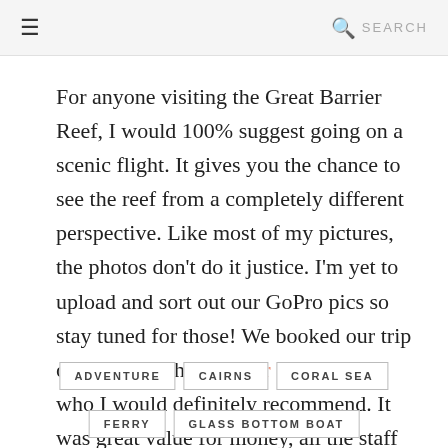≡  🔍 SEARCH
For anyone visiting the Great Barrier Reef, I would 100% suggest going on a scenic flight. It gives you the chance to see the reef from a completely different perspective. Like most of my pictures, the photos don't do it justice. I'm yet to upload and sort out our GoPro pics so stay tuned for those! We booked our trip online through The Tour Specialists, who I would definitely recommend. It was great value for money, all the staff were helpful and everything ran smoothly.
ADVENTURE
CAIRNS
CORAL SEA
FERRY
GLASS BOTTOM BOAT